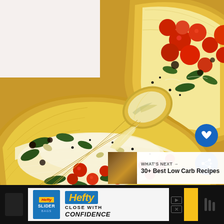[Figure (photo): Close-up photograph of spaghetti squash halves filled with cheesy spinach artichoke mixture and topped with diced tomatoes and fresh herbs. A gold/brass fork and spoon are scooping the stringy squash filling. The background shows a wooden cutting board surface.]
[Figure (infographic): Heart (favorite) button - circular blue button with white heart icon]
[Figure (infographic): Share button - circular blue button with white share/broadcast icon]
[Figure (photo): What's Next panel: thumbnail of a low carb recipe dish, with label '30+ Best Low Carb Recipes']
WHAT'S NEXT → 30+ Best Low Carb Recipes
[Figure (infographic): Hefty Slider Bags advertisement banner with blue and yellow branding, showing: 'Hefty CLOSE WITH CONFIDENCE' text on a light background, with ad controls and dark side panels.]